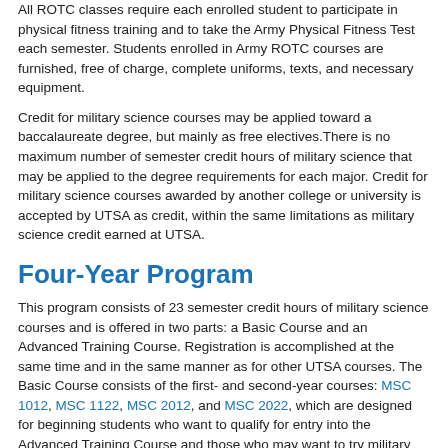All ROTC classes require each enrolled student to participate in physical fitness training and to take the Army Physical Fitness Test each semester. Students enrolled in Army ROTC courses are furnished, free of charge, complete uniforms, texts, and necessary equipment.
Credit for military science courses may be applied toward a baccalaureate degree, but mainly as free electives.There is no maximum number of semester credit hours of military science that may be applied to the degree requirements for each major. Credit for military science courses awarded by another college or university is accepted by UTSA as credit, within the same limitations as military science credit earned at UTSA.
Four-Year Program
This program consists of 23 semester credit hours of military science courses and is offered in two parts: a Basic Course and an Advanced Training Course. Registration is accomplished at the same time and in the same manner as for other UTSA courses. The Basic Course consists of the first- and second-year courses: MSC 1012, MSC 1122, MSC 2012, and MSC 2022, which are designed for beginning students who want to qualify for entry into the Advanced Training Course and those who may want to try military science without incurring a military commitment. A number of popular and challenging extracurricular activities are associated with these courses. Students can qualify for entry into the Advanced Training Course by completing the Leader's Training Course, a paid summer internship program.
Students may enter the Basic Course in two ways: in compliance with the